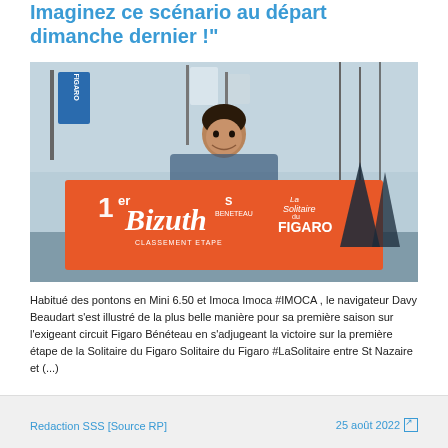Imaginez ce scénario au départ dimanche dernier !"
[Figure (photo): Sailor holding a large orange banner reading '1er Bizuth - La Solitaire du FIGARO - Beneteau' at a sailing event. Blue flags visible in background.]
photo QAPTUR PROD
Habitué des pontons en Mini 6.50 et Imoca Imoca #IMOCA , le navigateur Davy Beaudart s'est illustré de la plus belle manière pour sa première saison sur l'exigeant circuit Figaro Bénéteau en s'adjugeant la victoire sur la première étape de la Solitaire du Figaro Solitaire du Figaro #LaSolitaire entre St Nazaire et (...)
Redaction SSS [Source RP]     25 août 2022